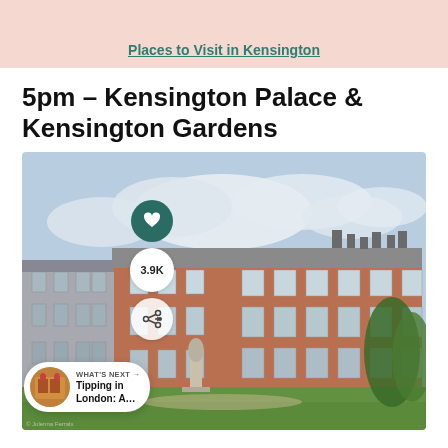Places to Visit in Kensington
5pm – Kensington Palace & Kensington Gardens
[Figure (photo): Photograph of Kensington Palace exterior — a large red-brick building with grey roof, multiple windows, with a statue and green lawn in the foreground and cloudy blue sky above. Overlaid with a heart/like button (3.9K), a share button, and a 'What's Next – Tipping in London: A…' card at the bottom left.]